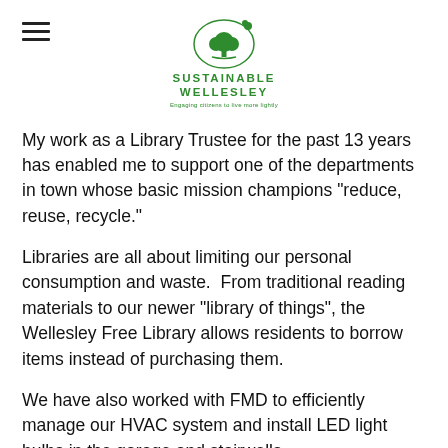Sustainable Wellesley
My work as a Library Trustee for the past 13 years has enabled me to support one of the departments in town whose basic mission champions "reduce, reuse, recycle."
Libraries are all about limiting our personal consumption and waste.  From traditional reading materials to our newer "library of things", the Wellesley Free Library allows residents to borrow items instead of purchasing them.
We have also worked with FMD to efficiently manage our HVAC system and install LED light bulbs in the garage and stairwells.